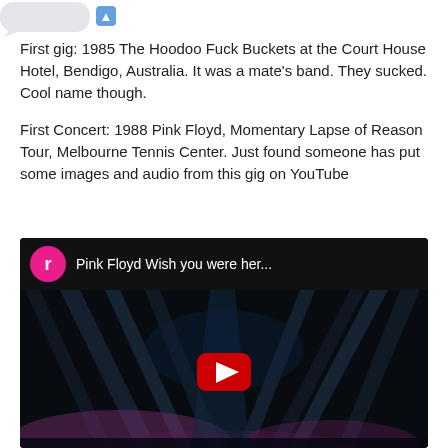[Figure (screenshot): Partial speech bubble / chat interface element at top left]
First gig: 1985 The Hoodoo Fuck Buckets at the Court House Hotel, Bendigo, Australia. It was a mate's band. They sucked. Cool name though.
First Concert: 1988 Pink Floyd, Momentary Lapse of Reason Tour, Melbourne Tennis Center. Just found someone has put some images and audio from this gig on YouTube
[Figure (screenshot): YouTube video embed showing a Pink Floyd concert with stage lights and a play button. Title reads 'Pink Floyd Wish you were her...' with a pink circle avatar showing letter r.]